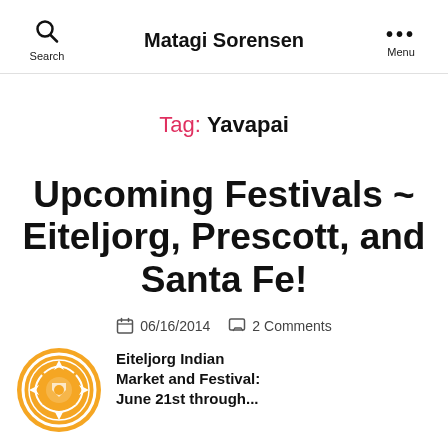Matagi Sorensen
Tag: Yavapai
Upcoming Festivals ~ Eiteljorg, Prescott, and Santa Fe!
06/16/2014   2 Comments
[Figure (logo): Circular golden/orange logo with Native American-style motif]
Eiteljorg Indian Market and Festival: June 21st through...